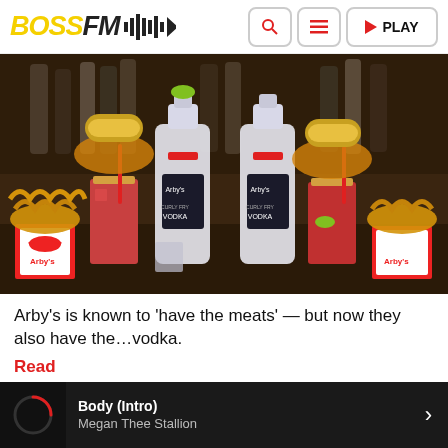BOSS FM [waveform logo] | Search | Menu | PLAY
[Figure (photo): Photo of Arby's branded vodka bottles surrounded by Arby's food items including curly fries, sliders, and Bloody Mary cocktails garnished with food, set on a bar counter with liquor bottles in background.]
Arby's is known to 'have the meats' — but now they also have the…vodka.
Read
Body (Intro) Megan Thee Stallion